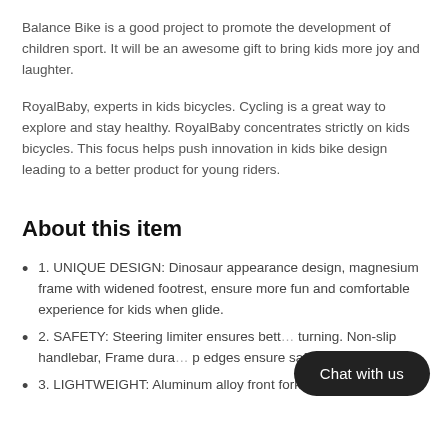Balance Bike is a good project to promote the development of children sport. It will be an awesome gift to bring kids more joy and laughter.
RoyalBaby, experts in kids bicycles. Cycling is a great way to explore and stay healthy. RoyalBaby concentrates strictly on kids bicycles. This focus helps push innovation in kids bike design leading to a better product for young riders.
About this item
1. UNIQUE DESIGN: Dinosaur appearance design, magnesium frame with widened footrest, ensure more fun and comfortable experience for kids when glide.
2. SAFETY: Steering limiter ensures bett… turning. Non-slip handlebar, Frame dura… p edges ensure safety.
3. LIGHTWEIGHT: Aluminum alloy front fork & handlebar make
[Figure (other): Chat with us button overlay (dark rounded pill button with white text)]